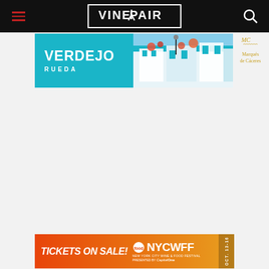VinePair website header with hamburger menu, VinePair logo, and search icon
[Figure (infographic): Advertisement banner for Verdejo Rueda wine by Marqués de Cáceres. Left portion shows turquoise/teal background with 'VERDEJO RUEDA' text in white, center shows a photo of a blue-and-white Spanish village, right shows the MC logo and 'Marqués de Cáceres' text in gold.]
[Figure (infographic): Advertisement banner for NYC Wine and Food Festival (NYCWFF). Orange gradient background with white text 'TICKETS ON SALE!' on the left, Food Network logo and 'NYCWFF' text with 'NEW YORK CITY WINE & FOOD FESTIVAL' subtitle and Capital One logo in center-right, 'OCT. 13-16' badge on far right.]